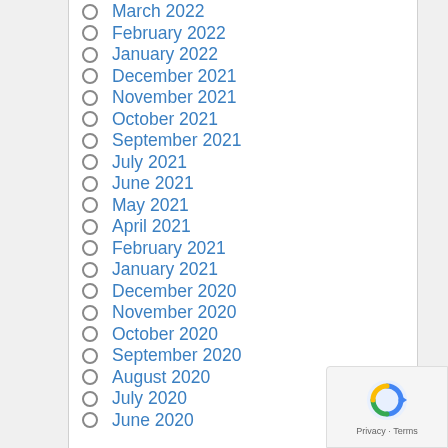March 2022
February 2022
January 2022
December 2021
November 2021
October 2021
September 2021
July 2021
June 2021
May 2021
April 2021
February 2021
January 2021
December 2020
November 2020
October 2020
September 2020
August 2020
July 2020
June 2020